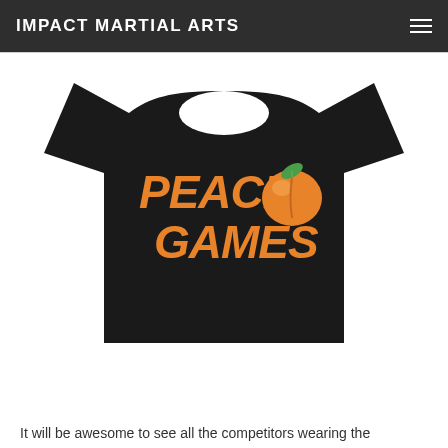IMPACT MARTIAL ARTS
[Figure (illustration): Black t-shirt with 'PEACH GAMES' text in orange stylized font, with a peach illustration replacing the 'O' in PEACH, on a white background]
It will be awesome to see all the competitors wearing the